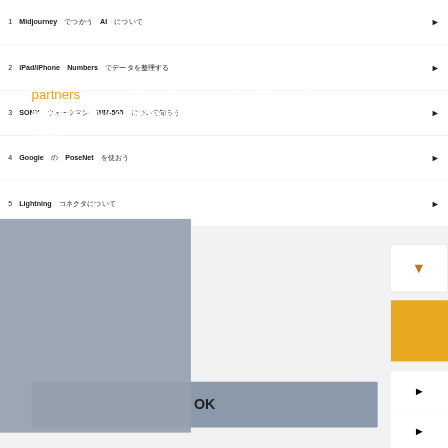1　Midjourney　でつかう　AI　について
2　iPad/iPhone　Numbers　でデータを整理する
3　SONY　ウォークマン　WM-505　について知ろう
4　Google　の　PoseNet　を使おう
5　Lightning　コネクタについて
By using our services, you agree that we and our partners use cookies to improve advertising and enhance your experience on our services. Learn more
OK